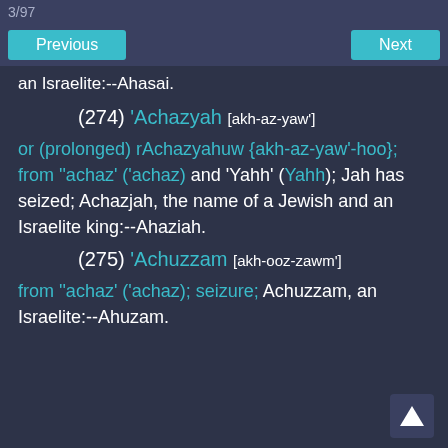3/97
Previous    Next
an Israelite:--Ahasai.
(274) 'Achazyah [akh-az-yaw']
or (prolonged) rAchazyahuw {akh-az-yaw'-hoo}; from ''achaz' ('achaz) and 'Yahh' (Yahh); Jah has seized; Achazjah, the name of a Jewish and an Israelite king:--Ahaziah.
(275) 'Achuzzam [akh-ooz-zawm']
from ''achaz' ('achaz); seizure; Achuzzam, an Israelite:--Ahuzam.